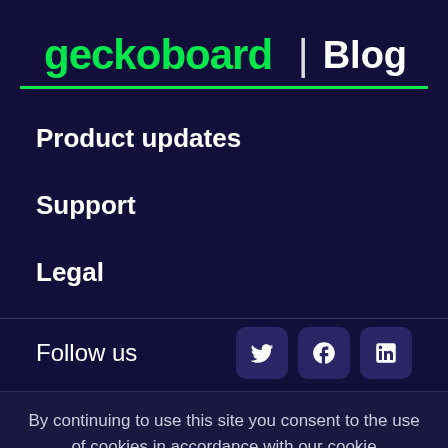geckoboard | Blog
Product updates
Support
Legal
Follow us
By continuing to use this site you consent to the use of cookies in accordance with our cookie policy. Learn more
Got it